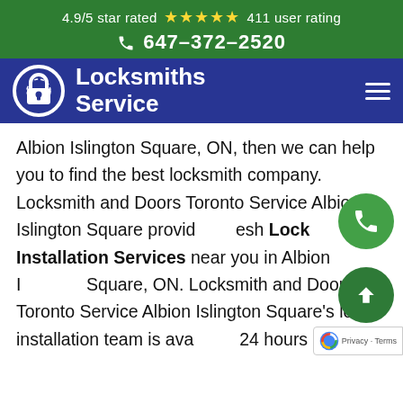4.9/5 star rated ★★★★★ 411 user rating
☎ 647-372-2520
Locksmiths Service
Albion Islington Square, ON, then we can help you to find the best locksmith company. Locksmith and Doors Toronto Service Albion Islington Square provides Fresh Lock Installation Services near you in Albion Islington Square, ON. Locksmith and Doors Toronto Service Albion Islington Square's lock installation team is available 24 hours because we know that security is important for your home or office. We have professional locksmiths who can fix all kinds of problems with your door lock so that it works properly again. The safety of your family and property should be our number one priority